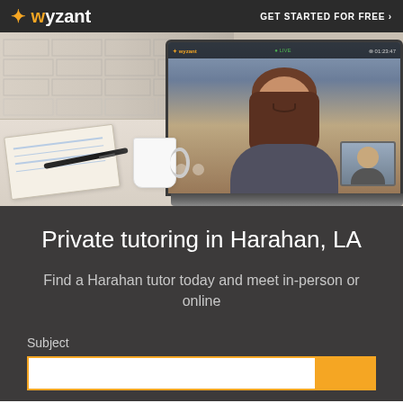wyzant  GET STARTED FOR FREE >
[Figure (photo): Hero image showing a laptop with a video tutoring session on screen, with a notebook, pen, and coffee mug on a white desk with brick wall background]
Private tutoring in Harahan, LA
Find a Harahan tutor today and meet in-person or online
Subject